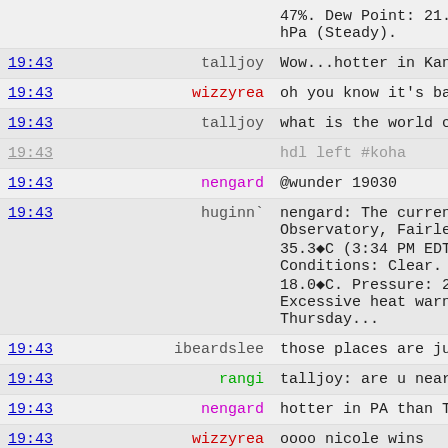| Time | User | Message |
| --- | --- | --- |
|  |  | 47%. Dew Point: 21.0°C. hPa (Steady). |
| 19:43 | talljoy | Wow...hotter in Kansas |
| 19:43 | wizzyrea | oh you know it's bad w |
| 19:43 | talljoy | what is the world comi |
| 19:43 |  | hdl left #koha |
| 19:43 | nengard | @wunder 19030 |
| 19:43 | huginn` | nengard: The current t Observatory, Fairless H 35.3°C (3:34 PM EDT on Conditions: Clear. Hum. 18.0°C. Pressure: 29.7 Excessive heat warning Thursday... |
| 19:43 | ibeardslee | those places are just |
| 19:43 | rangi | talljoy: are u near df |
| 19:43 | nengard | hotter in PA than TX |
| 19:43 | wizzyrea | oooo nicole wins |